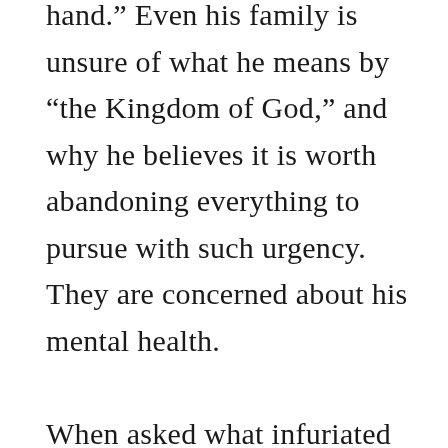hand.” Even his family is unsure of what he means by “the Kingdom of God,” and why he believes it is worth abandoning everything to pursue with such urgency. They are concerned about his mental health.

When asked what infuriated them so much about Yeshua Ben-Yosef’s message, Nazarene…